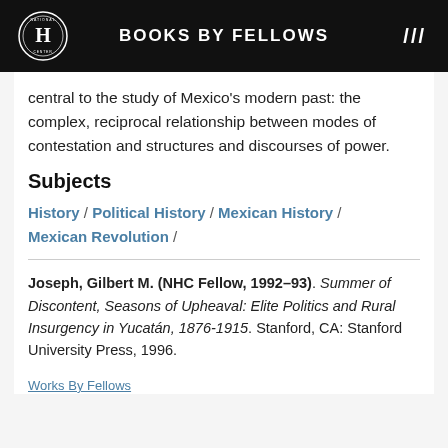BOOKS BY FELLOWS
central to the study of Mexico's modern past: the complex, reciprocal relationship between modes of contestation and structures and discourses of power.
Subjects
History / Political History / Mexican History / Mexican Revolution /
Joseph, Gilbert M. (NHC Fellow, 1992–93). Summer of Discontent, Seasons of Upheaval: Elite Politics and Rural Insurgency in Yucatán, 1876-1915. Stanford, CA: Stanford University Press, 1996.
Works By Fellows